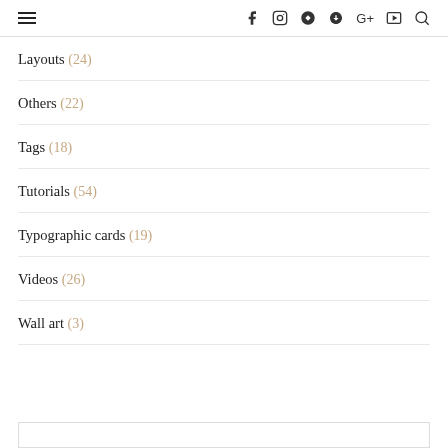≡  f  ⊙  ⊙  G+  ▦  🔍
Layouts (24)
Others (22)
Tags (18)
Tutorials (54)
Typographic cards (19)
Videos (26)
Wall art (3)